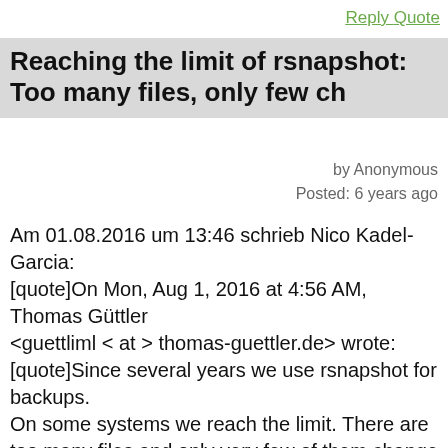Reply Quote
Reaching the limit of rsnapshot: Too many files, only few ch
by Anonymous
Posted: 6 years ago
Am 01.08.2016 um 13:46 schrieb Nico Kadel-Garcia:
[quote]On Mon, Aug 1, 2016 at 4:56 AM, Thomas Güttler
<guettliml < at > thomas-guettler.de> wrote:
[quote]Since several years we use rsnapshot for backups.

On some systems we reach the limit. There are too many files and only very few of them change and need to get backed-up.

Only about 0.1% of all files change on one day!